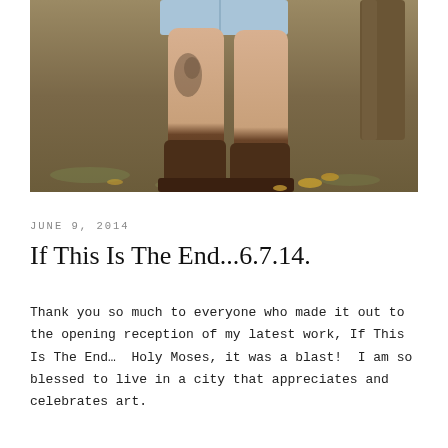[Figure (photo): Photo of a person's legs from thighs down, wearing denim cutoff shorts and brown leather boots, standing on dry ground with a tree in the background. Visible tattoo on the left thigh.]
JUNE 9, 2014
If This Is The End...6.7.14.
Thank you so much to everyone who made it out to the opening reception of my latest work, If This Is The End…  Holy Moses, it was a blast!  I am so blessed to live in a city that appreciates and celebrates art.